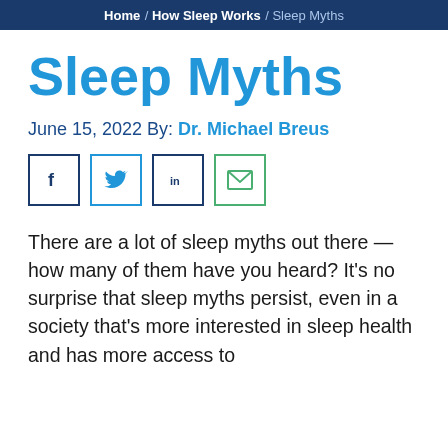Home / How Sleep Works / Sleep Myths
Sleep Myths
June 15, 2022 By: Dr. Michael Breus
[Figure (other): Social sharing icons for Facebook, Twitter, LinkedIn, and Email]
There are a lot of sleep myths out there — how many of them have you heard? It's no surprise that sleep myths persist, even in a society that's more interested in sleep health and has more access to